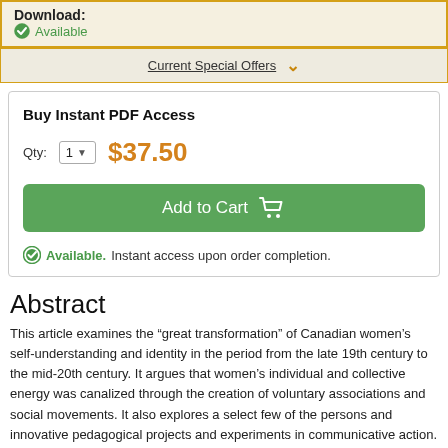Download:
Available
Current Special Offers
Buy Instant PDF Access
Qty: 1   $37.50
Add to Cart
Available. Instant access upon order completion.
Abstract
This article examines the “great transformation” of Canadian women’s self-understanding and identity in the period from the late 19th century to the mid-20th century. It argues that women’s individual and collective energy was canalized through the creation of voluntary associations and social movements. It also explores a select few of the persons and innovative pedagogical projects and experiments in communicative action. Civil society expands significantly to accommodate women’s needs, demands and dreams.